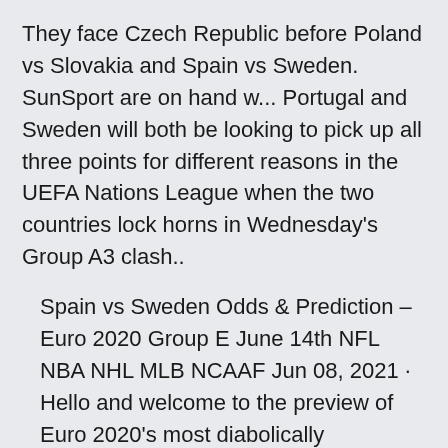They face Czech Republic before Poland vs Slovakia and Spain vs Sweden. SunSport are on hand w... Portugal and Sweden will both be looking to pick up all three points for different reasons in the UEFA Nations League when the two countries lock horns in Wednesday's Group A3 clash..
Spain vs Sweden Odds & Prediction – Euro 2020 Group E June 14th NFL NBA NHL MLB NCAAF Jun 08, 2021 · Hello and welcome to the preview of Euro 2020's most diabolically unpredictable opening group stage fixture. On Monday, June 14, No. 6 ranked Spain welcomes No. 18 Sweden to La Cartuja in Sweden vs. Spain - Tuesday, October 15, 2019 - EURO 2020 Qualifier Match Center - MSN Sports. UEFA Euro Qualifiers, Round 1-Group F. Oct 15 2:45 PM. Friends